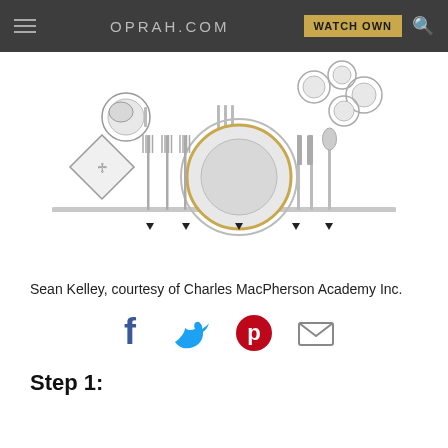OPRAH.COM  WATCH OWN
[Figure (illustration): Formal table place setting illustration showing napkin, multiple forks, dinner plate, knives, spoon, bread plate, and multiple glasses/cups arranged overhead view with five upward arrows at bottom indicating placement positions]
Sean Kelley, courtesy of Charles MacPherson Academy Inc.
[Figure (infographic): Social sharing icons: Facebook (blue f), Twitter (light blue bird), Pinterest (red P circle), Email (envelope)]
Step 1: